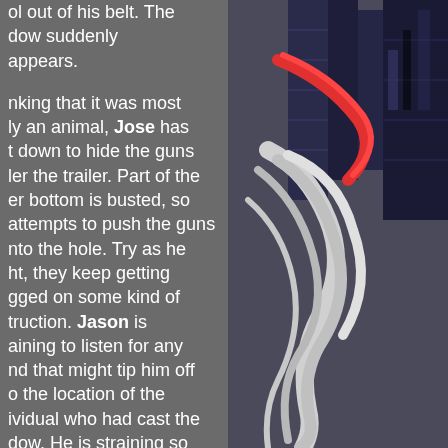[Figure (illustration): Anime/comic-style illustration of a character with long white/silver hair on the right side of the page, with dark blue architectural or mechanical structures in the background and red accents visible.]
ol out of his belt. The dow suddenly appears. nking that it was most ly an animal, Jose has t down to hide the guns ler the trailer. Part of the er bottom is busted, so attempts to push the guns nto the hole. Try as he ht, they keep getting gged on some kind of truction. Jason is aining to listen for any nd that might tip him off o the location of the ividual who had cast the dow. He is straining so